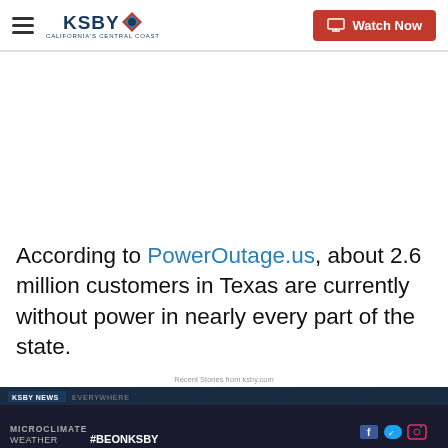KSBY California's Central Coast — Watch Now
According to PowerOutage.us, about 2.6 million customers in Texas are currently without power in nearly every part of the state.
Recent Stories from ksby.com
[Figure (screenshot): KSBY News broadcast thumbnail showing MICROCLIMATE WEATHER text and #BEONKSBY hashtag with social media icons]